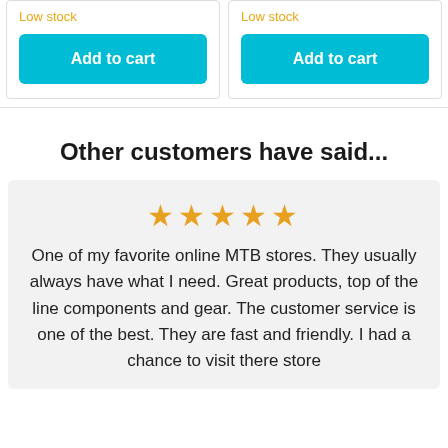Low stock
Add to cart
Low stock
Add to cart
Other customers have said...
[Figure (other): Five orange star rating icons]
One of my favorite online MTB stores. They usually always have what I need. Great products, top of the line components and gear. The customer service is one of the best. They are fast and friendly. I had a chance to visit there store